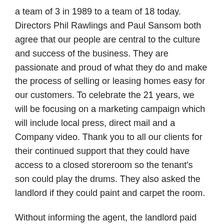a team of 3 in 1989 to a team of 18 today. Directors Phil Rawlings and Paul Sansom both agree that our people are central to the culture and success of the business. They are passionate and proud of what they do and make the process of selling or leasing homes easy for our customers. To celebrate the 21 years, we will be focusing on a marketing campaign which will include local press, direct mail and a Company video. Thank you to all our clients for their continued support that they could have access to a closed storeroom so the tenant's son could play the drums. They also asked the landlord if they could paint and carpet the room.
Without informing the agent, the landlord paid the tenant cash for the paint and carpet. Some months later the landlord visited the property and noticed that the tenants had turned the room into a functional bedroom by undertaking major structural repairs of inserting windows, removing doors and inserting a skylight.
The landlord was distressed and contacted their property manager. The property manager gave two options: